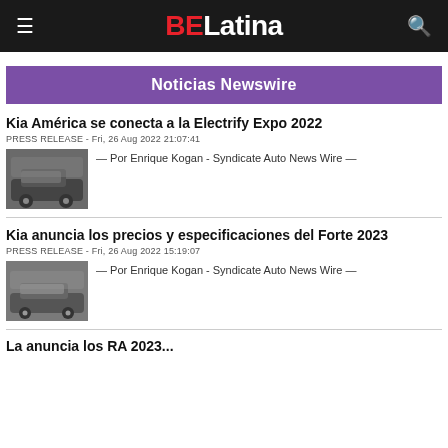BELatina
Noticias Newswire
Kia América se conecta a la Electrify Expo 2022
PRESS RELEASE - Fri, 26 Aug 2022 21:07:41
[Figure (photo): Photo of a Kia electric vehicle parked outdoors]
— Por Enrique Kogan - Syndicate Auto News Wire —
Kia anuncia los precios y especificaciones del Forte 2023
PRESS RELEASE - Fri, 26 Aug 2022 15:19:07
[Figure (photo): Photo of a Kia Forte 2023 sedan in silver]
— Por Enrique Kogan - Syndicate Auto News Wire —
La anuncia los RA 2023...